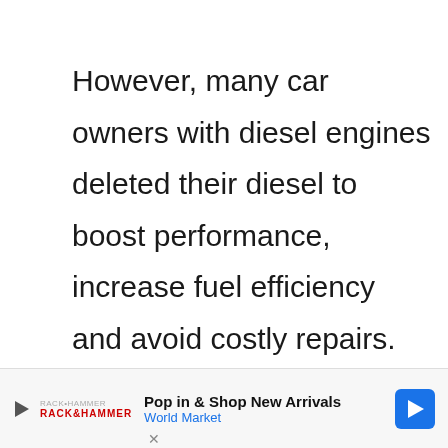However, many car owners with diesel engines deleted their diesel to boost performance, increase fuel efficiency and avoid costly repairs.
However, a deleted truck or vehicle, most times, will not pass emissions tests as
[Figure (other): Advertisement banner for World Market showing play icon, brand logo, headline 'Pop in & Shop New Arrivals', subline 'World Market', and a blue navigation arrow icon. Red close/dismiss button partially visible at top right.]